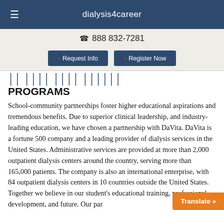dialysis4career
888 832-7281
Request Info   Register Now
PROGRAMS
School-community partnerships foster higher educational aspirations and tremendous benefits. Due to superior clinical leadership, and industry-leading education, we have chosen a partnership with DaVita. DaVita is a fortune 500 company and a leading provider of dialysis services in the United States. Administrative services are provided at more than 2,000 outpatient dialysis centers around the country, serving more than 165,000 patients. The company is also an international enterprise, with 84 outpatient dialysis centers in 10 countries outside the United States. Together we believe in our student's educational training, professional development, and future. Our par